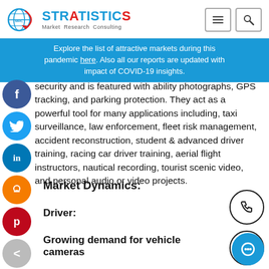Stratistics Market Research Consulting
Explore the list of attractive markets during this pandemic here. Also all our reports are updated with impact of COVID-19 insights.
security and is featured with ability photographs, GPS tracking, and parking protection. They act as a powerful tool for many applications including, taxi surveillance, law enforcement, fleet risk management, accident reconstruction, student & advanced driver training, racing car driver training, aerial flight instructors, nautical recording, tourist scenic video, and personal audio or video projects.
Market Dynamics:
Driver:
Growing demand for vehicle cameras